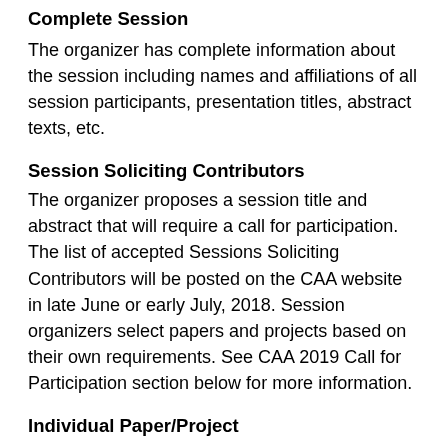Complete Session
The organizer has complete information about the session including names and affiliations of all session participants, presentation titles, abstract texts, etc.
Session Soliciting Contributors
The organizer proposes a session title and abstract that will require a call for participation. The list of accepted Sessions Soliciting Contributors will be posted on the CAA website in late June or early July, 2018. Session organizers select papers and projects based on their own requirements. See CAA 2019 Call for Participation section below for more information.
Individual Paper/Project
An individual CAA member may submit an abstract (with title), which, if accepted, will be included in the 2019 conference as part of a composed session with